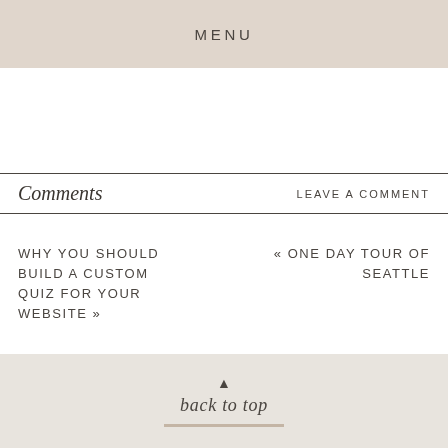MENU
Comments
LEAVE A COMMENT
WHY YOU SHOULD BUILD A CUSTOM QUIZ FOR YOUR WEBSITE »
« ONE DAY TOUR OF SEATTLE
back to top